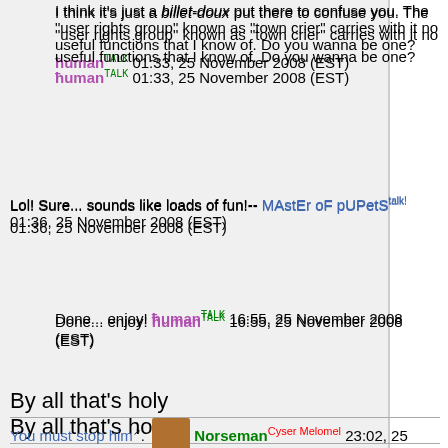I think it's just a billet-doux put there to confuse you. The "user rights group" known as "town crier" carries with it no useful functions that I know of. Do you wanna be one? ħuman TALK 01:33, 25 November 2008 (EST)
Lol! Sure... sounds like loads of fun!-- MAstEr oF pUPetS talk! 01:36, 25 November 2008 (EST)
Done... enjoy! ħuman TALK 16:55, 25 November 2008 (EST)
By all that's holy
You must stop him. Norseman Cyser Melomel 23:02, 25 November 2008 (EST)
If he thinks he can eliminate all knowledge of donuts from the